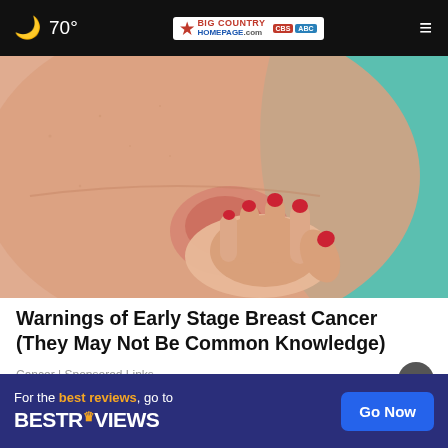70° | Big Country Homepage | Menu
[Figure (photo): Close-up photo of a woman in a teal top touching her chest/breast area with her hand, red-painted nails visible, showing reddened skin on the chest]
Warnings of Early Stage Breast Cancer (They May Not Be Common Knowledge)
Cancer | Sponsored Links
[Figure (other): Advertisement banner: For the best reviews, go to BESTREVIEWS with a Go Now button]